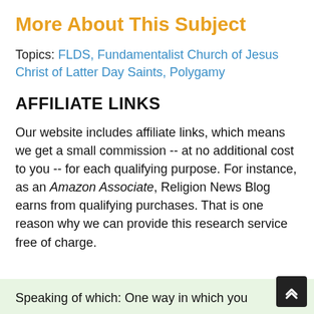More About This Subject
Topics: FLDS, Fundamentalist Church of Jesus Christ of Latter Day Saints, Polygamy
AFFILIATE LINKS
Our website includes affiliate links, which means we get a small commission -- at no additional cost to you -- for each qualifying purpose. For instance, as an Amazon Associate, Religion News Blog earns from qualifying purchases. That is one reason why we can provide this research service free of charge.
Speaking of which: One way in which you